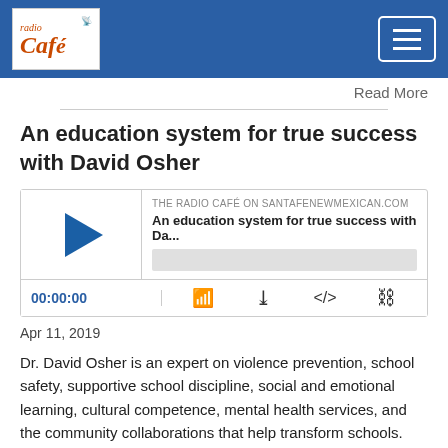Radio Café — navigation header
Read More
An education system for true success with David Osher
[Figure (screenshot): Audio player widget for 'An education system for true success with Da...' on The Radio Café on SantaFeNewMexican.com, showing play button, progress bar, time 00:00:00 and control icons.]
Apr 11, 2019
Dr. David Osher is an expert on violence prevention, school safety, supportive school discipline, social and emotional learning, cultural competence, mental health services, and the community collaborations that help transform schools. We talked to him during a recent visit to New Mexico.
Read More